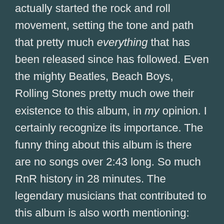actually started the rock and roll movement, setting the tone and path that pretty much everything that has been released since has followed. Even the mighty Beatles, Beach Boys, Rolling Stones pretty much owe their existence to this album, in my opinion. I certainly recognize its importance. The funny thing about this album is there are no songs over 2:43 long. So much RnR history in 28 minutes. The legendary musicians that contributed to this album is also worth mentioning: Floyd Cramer, Chet Atkins, Shorty Long and D.J. Fontana along with Elvis' backers, Bill Black and Scotty Moore make this album a good record. These aren't my favorite Elvis tunes, by any means, but the album is well recorded and mixed even for